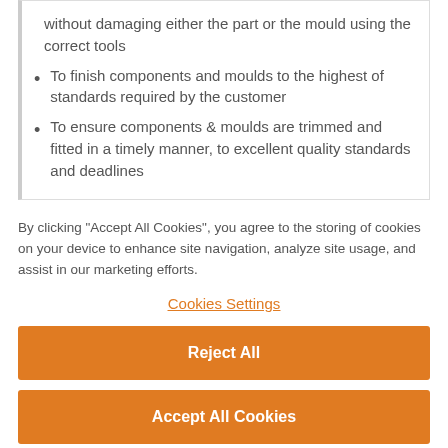without damaging either the part or the mould using the correct tools
To finish components and moulds to the highest of standards required by the customer
To ensure components & moulds are trimmed and fitted in a timely manner, to excellent quality standards and deadlines
By clicking “Accept All Cookies”, you agree to the storing of cookies on your device to enhance site navigation, analyze site usage, and assist in our marketing efforts.
Cookies Settings
Reject All
Accept All Cookies